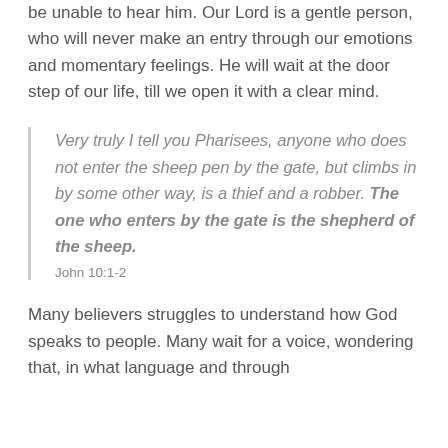be unable to hear him. Our Lord is a gentle person, who will never make an entry through our emotions and momentary feelings. He will wait at the door step of our life, till we open it with a clear mind.
Very truly I tell you Pharisees, anyone who does not enter the sheep pen by the gate, but climbs in by some other way, is a thief and a robber. The one who enters by the gate is the shepherd of the sheep.
John 10:1-2
Many believers struggles to understand how God speaks to people. Many wait for a voice, wondering that, in what language and through